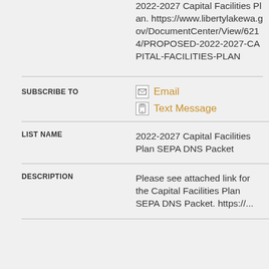2022-2027 Capital Facilities Plan. https://www.libertylakewa.gov/DocumentCenter/View/6214/PROPOSED-2022-2027-CAPITAL-FACILITIES-PLAN
SUBSCRIBE TO
Email
Text Message
| LIST NAME |  |
| --- | --- |
| LIST NAME | 2022-2027 Capital Facilities Plan SEPA DNS Packet |
| DESCRIPTION | Please see attached link for the Capital Facilities Plan SEPA DNS Packet. https://... |